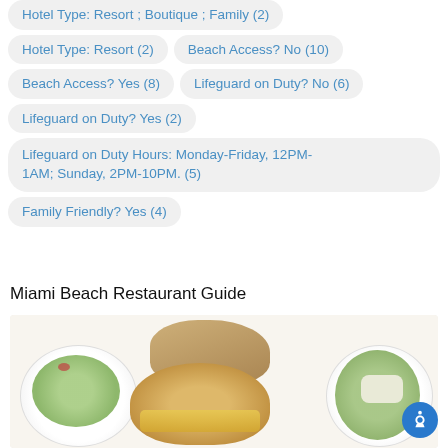Hotel Type: Resort ; Boutique ; Family (2)
Hotel Type: Resort (2)
Beach Access? No (10)
Beach Access? Yes (8)
Lifeguard on Duty? No (6)
Lifeguard on Duty? Yes (2)
Lifeguard on Duty Hours: Monday-Friday, 12PM-1AM; Sunday, 2PM-10PM. (5)
Family Friendly? Yes (4)
Miami Beach Restaurant Guide
[Figure (photo): Food photo showing multiple dishes: a green salad on a white plate (left), sandwiches on croissants (center and bottom), a grilled sandwich (top center), and a green salad with chicken on a white plate (right), all on a white tablecloth background.]